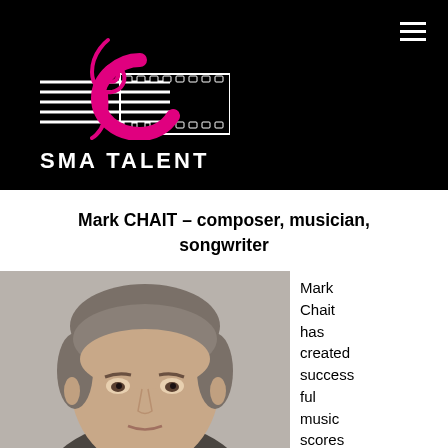[Figure (logo): SMA Talent logo — music staff lines with pink treble clef and film strip on black background, with 'SMA TALENT' text below]
Mark CHAIT – composer, musician, songwriter
[Figure (photo): Headshot photo of Mark Chait, a middle-aged man with short grey-brown hair, looking slightly upward, against a light grey background]
Mark Chait has created successful music scores